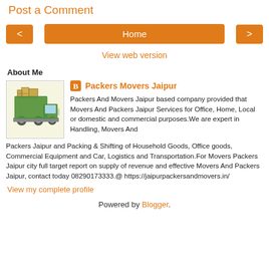Post a Comment
< Home >
View web version
About Me
[Figure (illustration): Green moving truck with boxes on it, cartoon style]
Packers Movers Jaipur
Packers And Movers Jaipur based company provided that Movers And Packers Jaipur Services for Office, Home, Local or domestic and commercial purposes.We are expert in Handling, Movers And Packers Jaipur and Packing & Shifting of Household Goods, Office goods, Commercial Equipment and Car, Logistics and Transportation.For Movers Packers Jaipur city full target report on supply of revenue and effective Movers And Packers Jaipur, contact today 08290173333.@ https://jaipurpackersandmovers.in/
View my complete profile
Powered by Blogger.